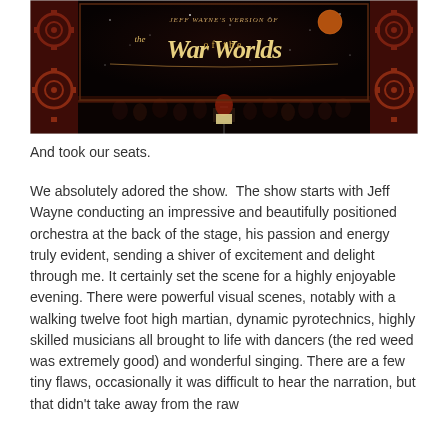[Figure (photo): A stage photo of Jeff Wayne's The War of the Worlds show. Dark steampunk-themed stage with red and dark decorations, gears on the side panels, a large projection screen in the center showing the title 'Jeff Wayne's version of The War of the Worlds' with ornate lettering and a reddish moon on a starry background. Below the screen are silhouettes of orchestra members and a conductor, with a lit music stand visible.]
And took our seats.
We absolutely adored the show.  The show starts with Jeff Wayne conducting an impressive and beautifully positioned orchestra at the back of the stage, his passion and energy truly evident, sending a shiver of excitement and delight through me. It certainly set the scene for a highly enjoyable evening. There were powerful visual scenes, notably with a walking twelve foot high martian, dynamic pyrotechnics, highly skilled musicians all brought to life with dancers (the red weed was extremely good) and wonderful singing. There are a few tiny flaws, occasionally it was difficult to hear the narration, but that didn't take away from the raw